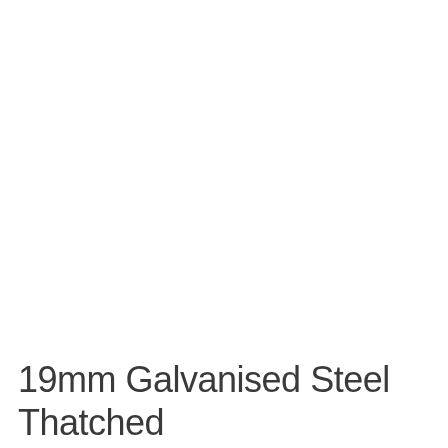19mm Galvanised Steel Thatched